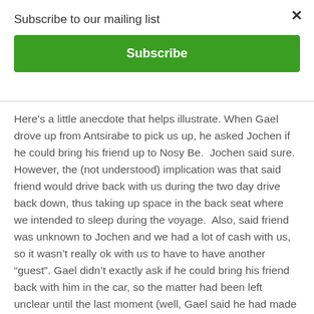Subscribe to our mailing list
Subscribe
Here’s a little anecdote that helps illustrate. When Gael drove up from Antsirabe to pick us up, he asked Jochen if he could bring his friend up to Nosy Be.  Jochen said sure. However, the (not understood) implication was that said friend would drive back with us during the two day drive back down, thus taking up space in the back seat where we intended to sleep during the voyage.  Also, said friend was unknown to Jochen and we had a lot of cash with us, so it wasn’t really ok with us to have to have another “guest”.  Gael didn’t exactly ask if he could bring his friend back with him in the car, so the matter had been left unclear until the last moment (well, Gael said he had made it clear, Jochen said he did not, and I wasn’t there to hear the conversation…).  So when the friend got into the vehicle at